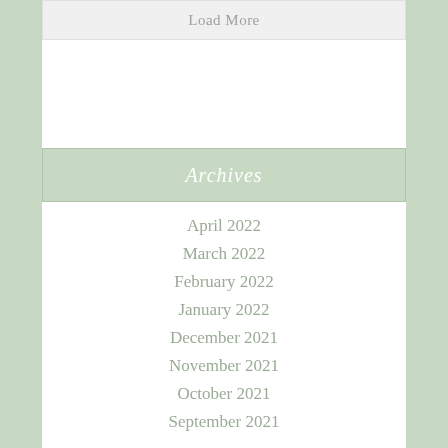Load More
Archives
April 2022
March 2022
February 2022
January 2022
December 2021
November 2021
October 2021
September 2021